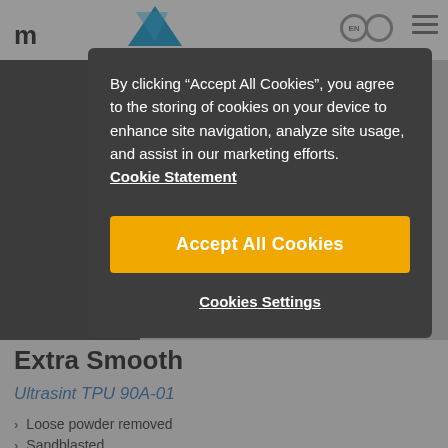[Figure (screenshot): Website page background showing navigation bar with logo and product page content]
By clicking “Accept All Cookies”, you agree to the storing of cookies on your device to enhance site navigation, analyze site usage, and assist in our marketing efforts. Cookie Statement
Accept All Cookies
Cookies Settings
Extra Smooth
Ultrasint TPU 90A-01
Loose powder removed
Sandblasted